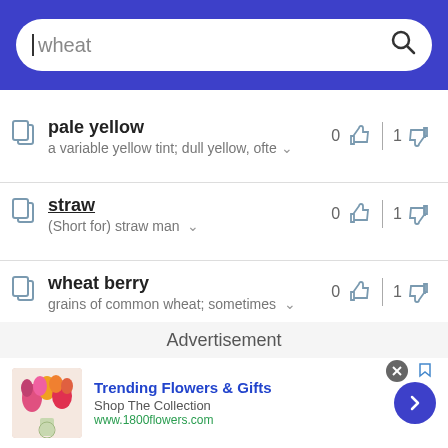wheat (search bar)
pale yellow — a variable yellow tint; dull yellow, ofte… — 0 likes, 1 dislike
straw — (Short for) straw man — 0 likes, 1 dislike
wheat berry — grains of common wheat; sometimes — 0 likes, 1 dislike
Advertisement
[Figure (photo): Flower bouquet advertisement for 1800flowers.com — Trending Flowers & Gifts, Shop The Collection, www.1800flowers.com]